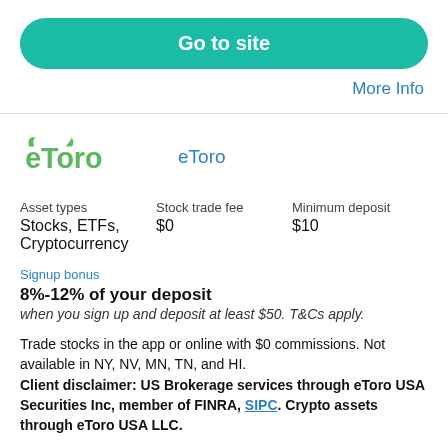Go to site
More Info
[Figure (logo): eToro logo in green with bull horns]
eToro
| Asset types | Stock trade fee | Minimum deposit |
| --- | --- | --- |
| Stocks, ETFs, Cryptocurrency | $0 | $10 |
Signup bonus
8%-12% of your deposit
when you sign up and deposit at least $50. T&Cs apply.
Trade stocks in the app or online with $0 commissions. Not available in NY, NV, MN, TN, and HI.
Client disclaimer: US Brokerage services through eToro USA Securities Inc, member of FINRA, SIPC. Crypto assets through eToro USA LLC.